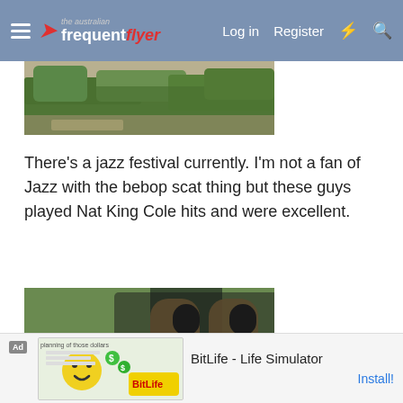The Australian Frequent Flyer — Log in  Register
[Figure (photo): Partial cropped photo showing green foliage and a path/ground area]
There's a jazz festival currently. I'm not a fan of Jazz with the bebop scat thing but these guys played Nat King Cole hits and were excellent.
[Figure (photo): Outdoor café scene with wicker/rattan chairs and people seated, with menus/flyers on blue tablecloth reading 'Jazz Night Music']
[Figure (screenshot): Ad banner: BitLife - Life Simulator, Install!]